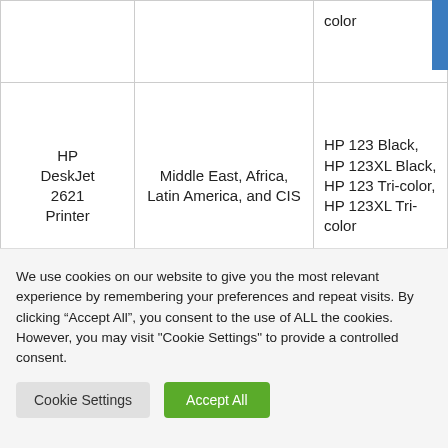|  |  |  |
| --- | --- | --- |
|  |  | color |
| HP DeskJet 2621 Printer | Middle East, Africa, Latin America, and CIS | HP 123 Black, HP 123XL Black, HP 123 Tri-color, HP 123XL Tri-color |
| HP |  | HP 803 Black, HP 803XL |
We use cookies on our website to give you the most relevant experience by remembering your preferences and repeat visits. By clicking "Accept All", you consent to the use of ALL the cookies. However, you may visit "Cookie Settings" to provide a controlled consent.